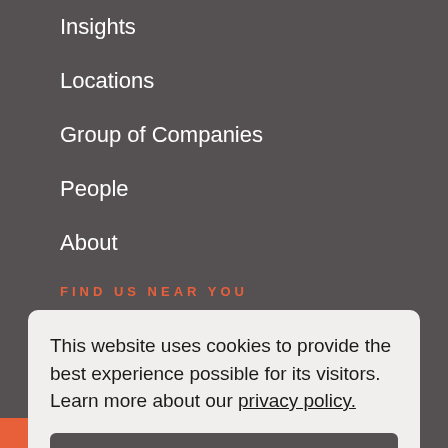Insights
Locations
Group of Companies
People
About
FIND US NEAR YOU
Portland
Salem
This website uses cookies to provide the best experience possible for its visitors. Learn more about our privacy policy.
Got it!
Area